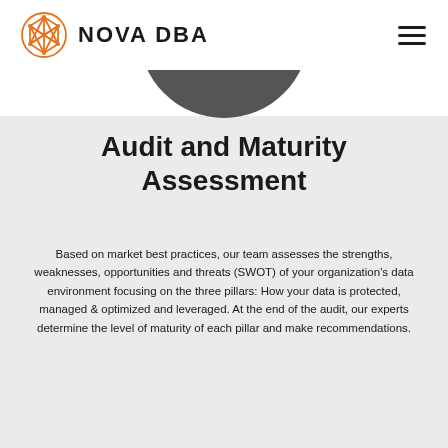NOVA DBA
[Figure (logo): Nova DBA logo: orange geometric polyhedron/network icon on the left, bold uppercase text NOVA DBA on the right, hamburger menu icon in top right corner]
[Figure (illustration): Dark gray semicircular arc at top of content area, partially cropped, representing a person or decorative element]
Audit and Maturity Assessment
Based on market best practices, our team assesses the strengths, weaknesses, opportunities and threats (SWOT) of your organization's data environment focusing on the three pillars: How your data is protected, managed & optimized and leveraged. At the end of the audit, our experts determine the level of maturity of each pillar and make recommendations.